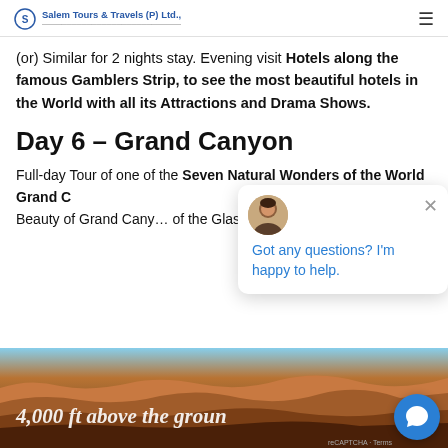Salem Tours & Travels (P) Ltd.
(or) Similar for 2 nights stay. Evening visit Hotels along the famous Gamblers Strip, to see the most beautiful hotels in the World with all its Attractions and Drama Shows.
Day 6 – Grand Canyon
Full-day Tour of one of the Seven Natural Wonders of the World Grand C…
Beauty of Grand Cany… of the Glasses.
[Figure (photo): Grand Canyon landscape photo with text overlay reading '4,000 ft above the groun…']
Got any questions? I'm happy to help.